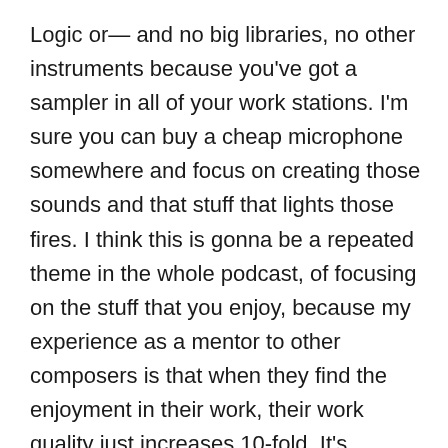Logic or— and no big libraries, no other instruments because you've got a sampler in all of your work stations. I'm sure you can buy a cheap microphone somewhere and focus on creating those sounds and that stuff that lights those fires. I think this is gonna be a repeated theme in the whole podcast, of focusing on the stuff that you enjoy, because my experience as a mentor to other composers is that when they find the enjoyment in their work, their work quality just increases 10-fold. It's wonderful! When they're kind of sat there trying hard to write an epic piece of trailer music—when they're basically just learning the ropes really—they're learning the structures, and that is very important. But when they're just doing that and